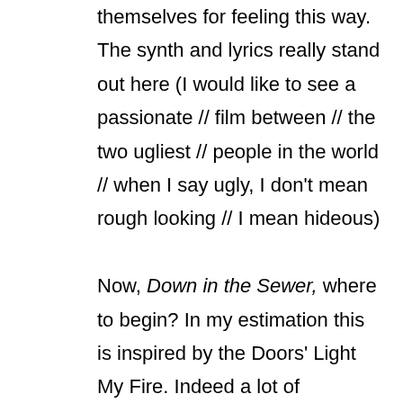themselves for feeling this way. The synth and lyrics really stand out here (I would like to see a passionate // film between // the two ugliest // people in the world // when I say ugly, I don't mean rough looking // I mean hideous)

Now, Down in the Sewer, where to begin? In my estimation this is inspired by the Doors' Light My Fire. Indeed a lot of Greenfield's keyboard stylings can be seen to stem from the wonderful